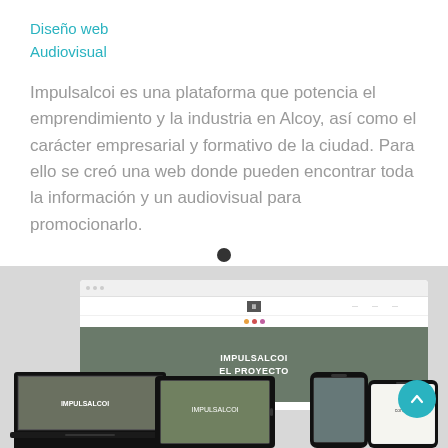Diseño web
Audiovisual
Impulsalcoi es una plataforma que potencia el emprendimiento y la industria en Alcoy, así como el carácter empresarial y formativo de la ciudad. Para ello se creó una web donde pueden encontrar toda la información y un audiovisual para promocionarlo.
[Figure (screenshot): Screenshot of Impulsalcoi website displayed on multiple devices: browser/desktop view showing hero image with 'IMPULSALCOI EL PROYECTO' text overlay, plus laptop, tablet, and phone mockups on a grey background.]